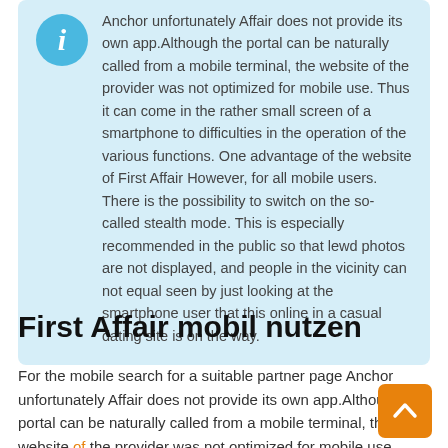Anchor unfortunately Affair does not provide its own app.Although the portal can be naturally called from a mobile terminal, the website of the provider was not optimized for mobile use. Thus it can come in the rather small screen of a smartphone to difficulties in the operation of the various functions. One advantage of the website of First Affair However, for all mobile users. There is the possibility to switch on the so-called stealth mode. This is especially recommended in the public so that lewd photos are not displayed, and people in the vicinity can not equal seen by just looking at the smartphone user that this online in a casual dating site is on the way.
First Affair mobil nutzen
For the mobile search for a suitable partner page Anchor unfortunately Affair does not provide its own app.Although the portal can be naturally called from a mobile terminal, the website of the provider was not optimized for mobile use. Thus